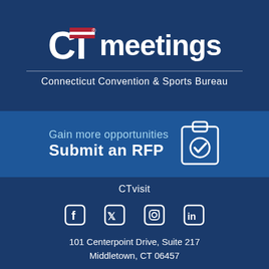[Figure (logo): CT Meetings logo with Connecticut flag graphic and text 'CT meetings']
Connecticut Convention & Sports Bureau
Gain more opportunities
Submit an RFP
[Figure (illustration): Clipboard with checkmark icon]
CTvisit
[Figure (illustration): Social media icons: Facebook, Twitter, Instagram, LinkedIn]
101 Centerpoint Drive, Suite 217
Middletown, CT 06457